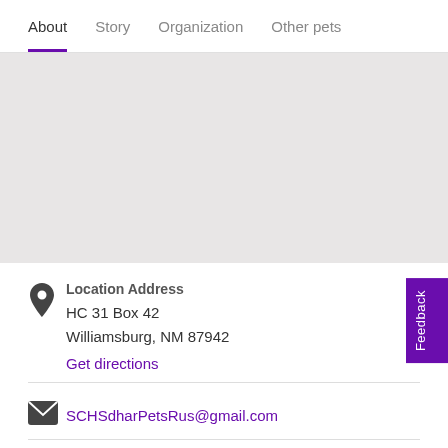About  Story  Organization  Other pets
[Figure (map): Gray map placeholder area]
Location Address
HC 31 Box 42
Williamsburg, NM 87942
Get directions
SCHSdharPetsRus@gmail.com